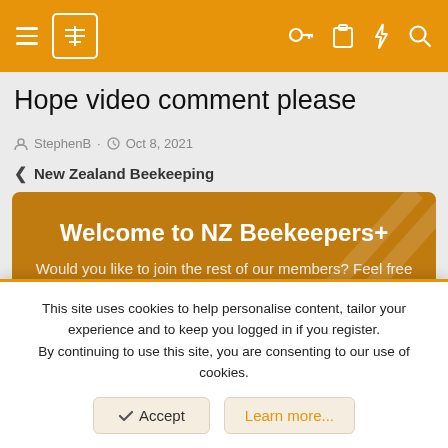NZ Beekeepers+ navigation bar
Hope video comment please
StephenB · Oct 8, 2021
< New Zealand Beekeeping
[Figure (other): Welcome to NZ Beekeepers+ banner with text: Would you like to join the rest of our members? Feel free to sign up today.]
This site uses cookies to help personalise content, tailor your experience and to keep you logged in if you register. By continuing to use this site, you are consenting to our use of cookies.
Accept   Learn more...